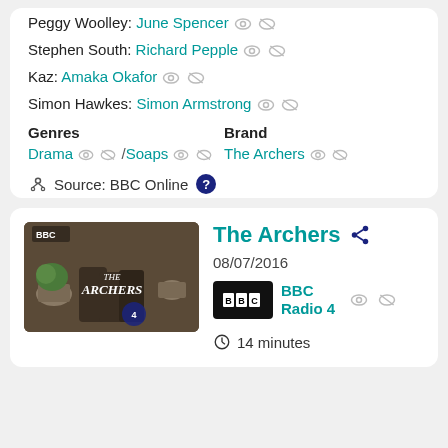Peggy Woolley: June Spencer
Stephen South: Richard Pepple
Kaz: Amaka Okafor
Simon Hawkes: Simon Armstrong
Genres
Drama / Soaps
Brand
The Archers
Source: BBC Online
The Archers
08/07/2016
BBC Radio 4
14 minutes